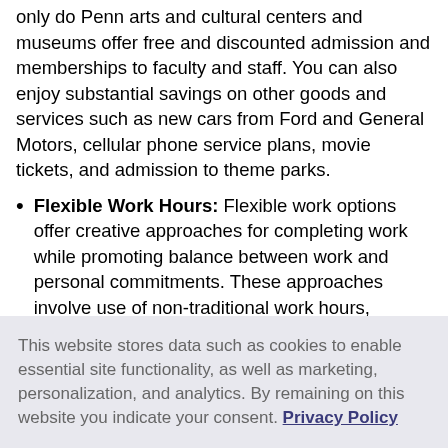only do Penn arts and cultural centers and museums offer free and discounted admission and memberships to faculty and staff. You can also enjoy substantial savings on other goods and services such as new cars from Ford and General Motors, cellular phone service plans, movie tickets, and admission to theme parks.
Flexible Work Hours: Flexible work options offer creative approaches for completing work while promoting balance between work and personal commitments. These approaches involve use of non-traditional work hours, locations, and/or job structures.
Penn Home Ownership Services: Penn offers a forgivable loan for eligible employees interested in buying a home or currently residing in West Philadelphia, which can be used for closing costs or
This website stores data such as cookies to enable essential site functionality, as well as marketing, personalization, and analytics. By remaining on this website you indicate your consent. Privacy Policy